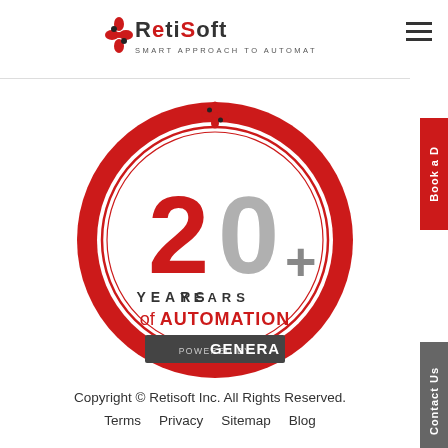[Figure (logo): RetiSoft logo with text SMART APPROACH TO AUTOMATION]
[Figure (logo): 20+ Years of Automation powered by GENERA circular badge in red and grey]
Copyright © Retisoft Inc. All Rights Reserved. Terms Privacy Sitemap Blog